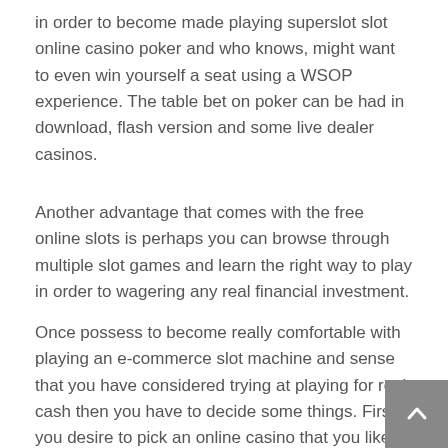in order to become made playing superslot slot online casino poker and who knows, might want to even win yourself a seat using a WSOP experience. The table bet on poker can be had in download, flash version and some live dealer casinos.
Another advantage that comes with the free online slots is perhaps you can browse through multiple slot games and learn the right way to play in order to wagering any real financial investment.
Once possess to become really comfortable with playing an e-commerce slot machine and sense that you have considered trying at playing for real cash then you have to decide some things. First you desire to pick an online casino that you like the most. Hopefully you have tried out at least two or three, and are also now familiar with each consultants.